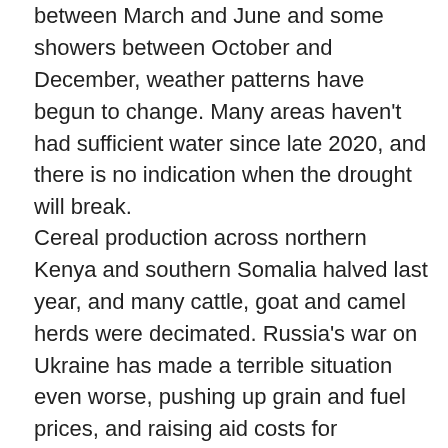between March and June and some showers between October and December, weather patterns have begun to change. Many areas haven't had sufficient water since late 2020, and there is no indication when the drought will break.
Cereal production across northern Kenya and southern Somalia halved last year, and many cattle, goat and camel herds were decimated. Russia's war on Ukraine has made a terrible situation even worse, pushing up grain and fuel prices, and raising aid costs for governments whose coffers had already been depleted by the coronavirus pandemic.